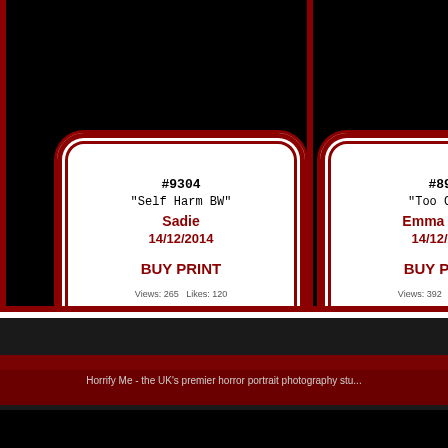[Figure (screenshot): Left product card for item #9304 'Self Harm BW' by artist Sadie, dated 14/12/2014, with BUY PRINT link and stats: Views 265, Likes 120]
[Figure (screenshot): Right product card for item #891 'Too Cold' by artist Emma Sadie, dated 14/12/2014, with BUY PRINT link and stats: Views 392, Likes 118]
Horrify Me - the UK's premier horror portrait photography stu...